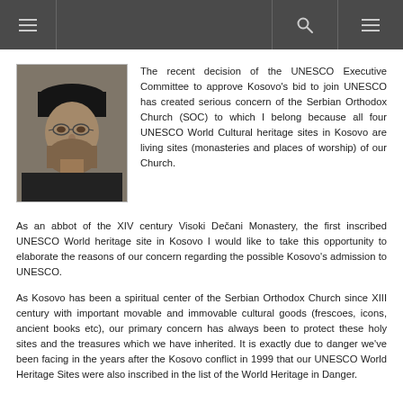Navigation bar with menu and search icons
[Figure (photo): Portrait photo of a bearded man wearing glasses and a black monastic hat (kamilavka), facing slightly to the side. Black and white toned image.]
The recent decision of the UNESCO Executive Committee to approve Kosovo’s bid to join UNESCO has created serious concern of the Serbian Orthodox Church (SOC) to which I belong because all four UNESCO World Cultural heritage sites in Kosovo are living sites (monasteries and places of worship) of our Church.
As an abbot of the XIV century Visoki Dečani Monastery, the first inscribed UNESCO World heritage site in Kosovo I would like to take this opportunity to elaborate the reasons of our concern regarding the possible Kosovo’s admission to UNESCO.
As Kosovo has been a spiritual center of the Serbian Orthodox Church since XIII century with important movable and immovable cultural goods (frescoes, icons, ancient books etc), our primary concern has always been to protect these holy sites and the treasures which we have inherited. It is exactly due to danger we’ve been facing in the years after the Kosovo conflict in 1999 that our UNESCO World Heritage Sites were also inscribed in the list of the World Heritage in Danger.